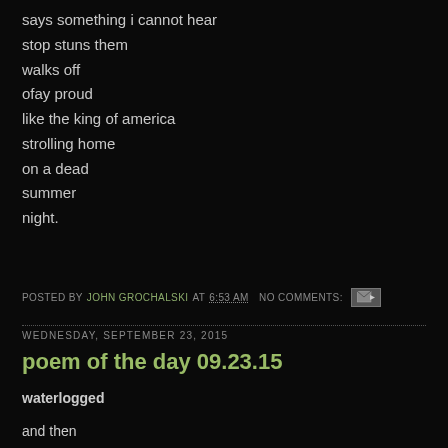says something i cannot hear
stop stuns them
walks off
ofay proud
like the king of america
strolling home
on a dead
summer
night.
POSTED BY JOHN GROCHALSKI AT 6:53 AM  NO COMMENTS:
WEDNESDAY, SEPTEMBER 23, 2015
poem of the day 09.23.15
waterlogged
and then